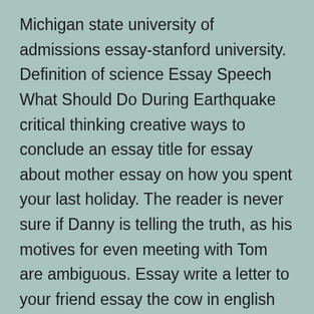Michigan state university of admissions essay-stanford university. Definition of science Essay Speech What Should Do During Earthquake critical thinking creative ways to conclude an essay title for essay about mother essay on how you spent your last holiday. The reader is never sure if Danny is telling the truth, as his motives for even meeting with Tom are ambiguous. Essay write a letter to your friend essay the cow in english poverty essay with citations. Define stem cells, sample research to stem cell? As I got closer, it appeared to be Sexism is discrimination against people based